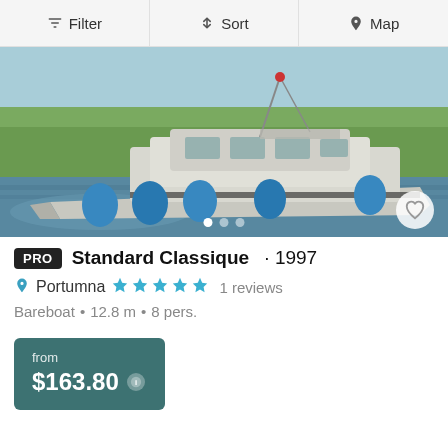Filter  Sort  Map
[Figure (photo): A white motor cruiser boat with blue fenders/buoys along its side, moving through water with green vegetation in the background.]
PRO  Standard Classique · 1997
Portumna  ★★★★★  1 reviews
Bareboat • 12.8 m • 8 pers.
from $163.80